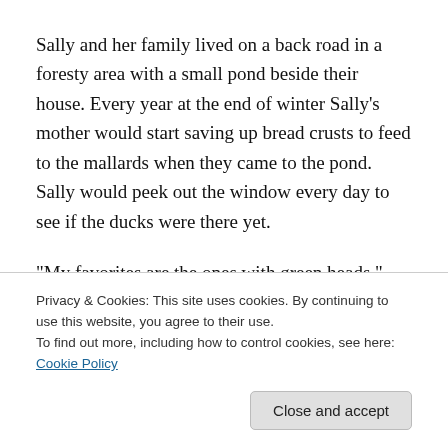Sally and her family lived on a back road in a foresty area with a small pond beside their house. Every year at the end of winter Sally’s mother would start saving up bread crusts to feed to the mallards when they came to the pond. Sally would peek out the window every day to see if the ducks were there yet.
“My favorites are the ones with green heads,” Sally told her mother as she smashed her nose on the glass.
“Do you know why they have green heads?” Her mother
Privacy & Cookies: This site uses cookies. By continuing to use this website, you agree to their use.
To find out more, including how to control cookies, see here: Cookie Policy
They’re called ‘drakes.’ The brown ones are ladies.”